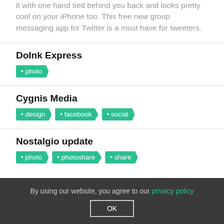it with one hand tied behind you back and looks pretty cool on your iPhone too. This free new group messaging app for Twitter is a must have for tweeters.
DoInk Express
• photo
Cygnis Media
• design  • facebook  • social
Nostalgio update
• photo  • photoshare  • share
By using our website, you agree to our privacy policy  OK